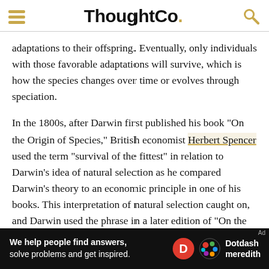ThoughtCo.
adaptations to their offspring. Eventually, only individuals with those favorable adaptations will survive, which is how the species changes over time or evolves through speciation.
In the 1800s, after Darwin first published his book "On the Origin of Species," British economist Herbert Spencer used the term "survival of the fittest" in relation to Darwin's idea of natural selection as he compared Darwin's theory to an economic principle in one of his books. This interpretation of natural selection caught on, and Darwin used the phrase in a later edition of "On the Origin of Species." Darwin used the term as it was meant regarding natural selection. Nowadays, however, the term is often misunderstood when used in place
[Figure (screenshot): Ad banner: 'We help people find answers, solve problems and get inspired.' with Dotdash Meredith logo]